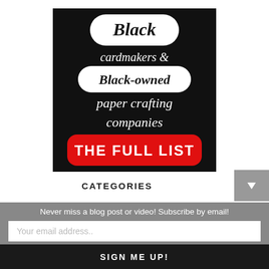[Figure (illustration): Black background image with hand-lettered white script text: 'Black cardmakers & Black-owned paper crafting companies' with 'Black' in a white rounded pill shape, 'Black-owned' in a white rounded rectangle, and 'THE FULL LIST' in white bold text on a red rounded rectangle at the bottom.]
CATEGORIES
Never miss a blog post or video! Subscribe by email!
Your email address..
SIGN ME UP!